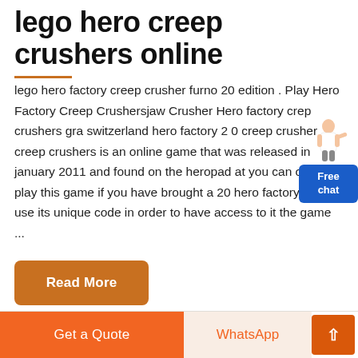lego hero creep crushers online
lego hero factory creep crusher furno 20 edition . Play Hero Factory Creep Crushersjaw Crusher Hero factory crep crushers gra switzerland hero factory 2 0 creep crusher creep crushers is an online game that was released in january 2011 and found on the heropad at you can only play this game if you have brought a 20 hero factory set and use its unique code in order to have access to it the game ...
Read More
Get a Quote
WhatsApp